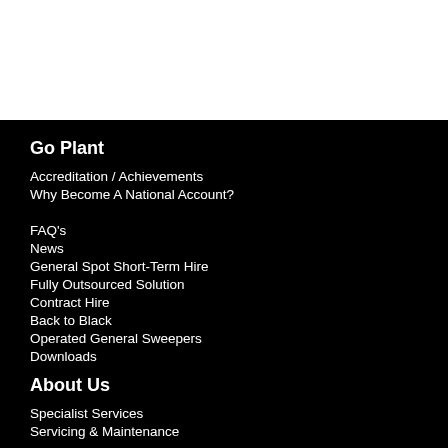Go Plant
Accreditation / Achievements
Why Become A National Account?
FAQ's
News
General Spot Short-Term Hire
Fully Outsourced Solution
Contract Hire
Back to Black
Operated General Sweepers
Downloads
About Us
Specialist Services
Servicing & Maintenance